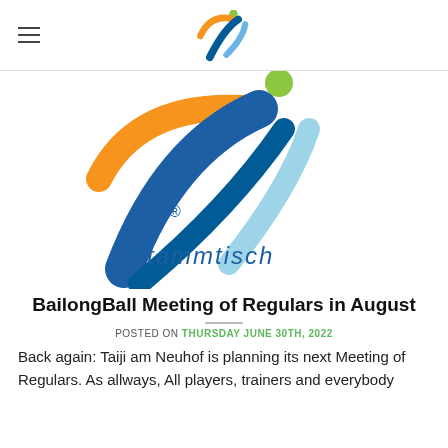≡  [logo]
[Figure (logo): Stammtisch logo with colorful swooping figures (orange, blue, light blue, green/yellow) and curved 'Stammtisch' text with registered trademark symbol]
BailongBall Meeting of Regulars in August
POSTED ON THURSDAY JUNE 30TH, 2022
Back again: Taiji am Neuhof is planning its next Meeting of Regulars. As allways, All players, trainers and everybody